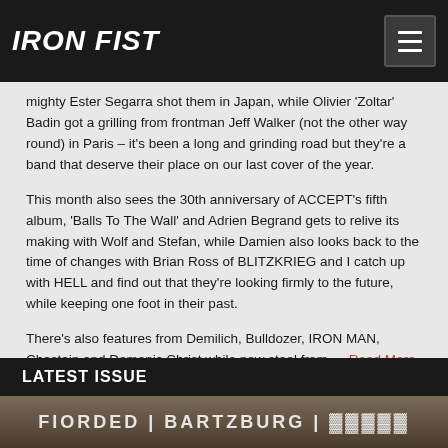IRON FIST
mighty Ester Segarra shot them in Japan, while Olivier 'Zoltar' Badin got a grilling from frontman Jeff Walker (not the other way round) in Paris – it's been a long and grinding road but they're a band that deserve their place on our last cover of the year.
This month also sees the 30th anniversary of ACCEPT's fifth album, 'Balls To The Wall' and Adrien Begrand gets to relive its making with Wolf and Stefan, while Damien also looks back to the time of changes with Brian Ross of BLITZKRIEG and I catch up with HELL and find out that they're looking firmly to the future, while keeping one foot in their past.
There's also features from Demilich, Bulldozer, IRON MAN, Chastain and Demonic Christ while new steel from … Read More
LATEST ISSUE
[Figure (photo): Partially visible bottom image strip showing a magazine cover or photo related to the latest issue]